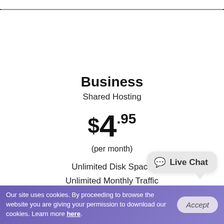Business
Shared Hosting
$4.95
(per month)
Unlimited Disk Space
Unlimited Monthly Traffic
Affordable Domains
5 Hosted Domain(s)
[Figure (other): Live Chat speech bubble widget]
Our site uses cookies. By proceeding to browse the website you are giving your permission to download our cookies. Learn more here.